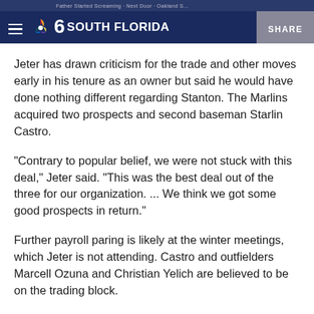NBC6 South Florida — SHARE
Jeter has drawn criticism for the trade and other moves early in his tenure as an owner but said he would have done nothing different regarding Stanton. The Marlins acquired two prospects and second baseman Starlin Castro.
"Contrary to popular belief, we were not stuck with this deal," Jeter said. "This was the best deal out of the three for our organization. ... We think we got some good prospects in return."
Further payroll paring is likely at the winter meetings, which Jeter is not attending. Castro and outfielders Marcell Ozuna and Christian Yelich are believed to be on the trading block.